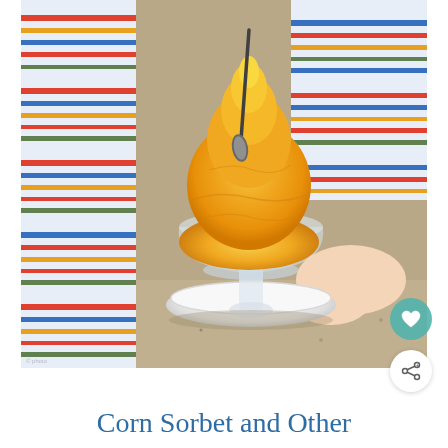[Figure (photo): A child in a multicolored striped shirt holds a glass dessert cup filled with a large mound of bright orange/yellow corn sorbet, placed on a white saucer on a granite table. A spoon is inserted into the sorbet.]
Corn Sorbet and Other